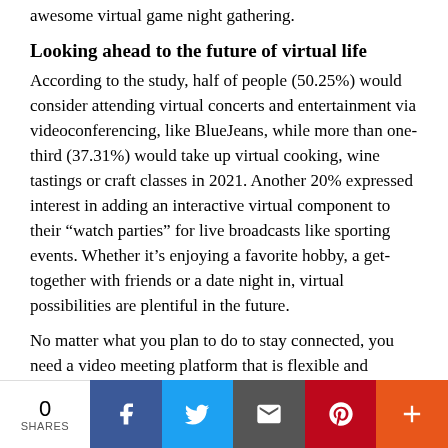awesome virtual game night gathering.
Looking ahead to the future of virtual life
According to the study, half of people (50.25%) would consider attending virtual concerts and entertainment via videoconferencing, like BlueJeans, while more than one-third (37.31%) would take up virtual cooking, wine tastings or craft classes in 2021. Another 20% expressed interest in adding an interactive virtual component to their “watch parties” for live broadcasts like sporting events. Whether it’s enjoying a favorite hobby, a get-together with friends or a date night in, virtual possibilities are plentiful in the future.
No matter what you plan to do to stay connected, you need a video meeting platform that is flexible and reliable. Thousands of companies from growing businesses to Fortune 500 leaders use BlueJeans every day for video meetings and interactive virtual
0 SHARES | Facebook | Twitter | Email | Pinterest | More